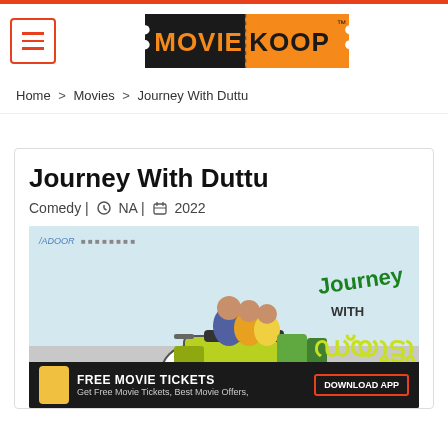MOVIEKOOP
Home > Movies > Journey With Duttu
Journey With Duttu
Comedy | NA | 2022
[Figure (photo): Movie poster for Journey With Duttu showing a family riding a motorcycle, with Malayalam text overlay and a YouTube play button. Film credits show 'A film by RAJEESH BALA'.]
FREE MOVIE TICKETS Get Free Movie Tickets, Best Movie Offers, DOWNLOAD APP